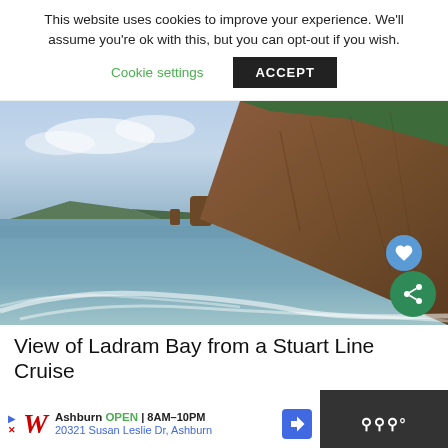This website uses cookies to improve your experience. We'll assume you're ok with this, but you can opt-out if you wish.
Cookie settings   ACCEPT
[Figure (photo): Coastal cliff scene showing Ladram Bay from a boat. Red/brown sandstone cliffs dominate the right side. Rocky sea stacks visible in the middle distance. Boat wake visible in the foreground water. Overcast sky.]
View of Ladram Bay from a Stuart Line Cruise
[Figure (screenshot): Advertisement bar for Walgreens: Ashburn OPEN 8AM-10PM, 20321 Susan Leslie Dr, Ashburn. Direction button icon. Right side shows weather widget with degree symbol.]